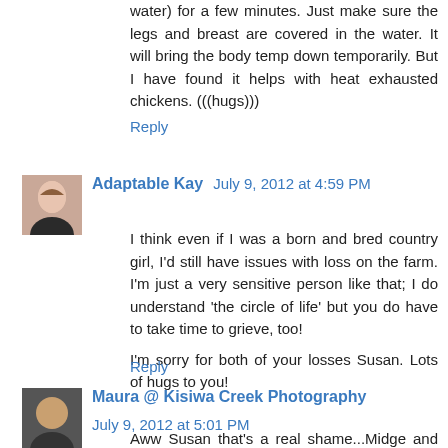water) for a few minutes. Just make sure the legs and breast are covered in the water. It will bring the body temp down temporarily. But I have found it helps with heat exhausted chickens. (((hugs)))
Reply
Adaptable Kay   July 9, 2012 at 4:59 PM
I think even if I was a born and bred country girl, I'd still have issues with loss on the farm. I'm just a very sensitive person like that; I do understand 'the circle of life' but you do have to take time to grieve, too!
I'm sorry for both of your losses Susan. Lots of hugs to you!
Reply
Maura @ Kisiwa Creek Photography   July 9, 2012 at 5:01 PM
Aww Susan that's a real shame...Midge and Fluff were sweethearts. It's always hard to loose animal friends even if